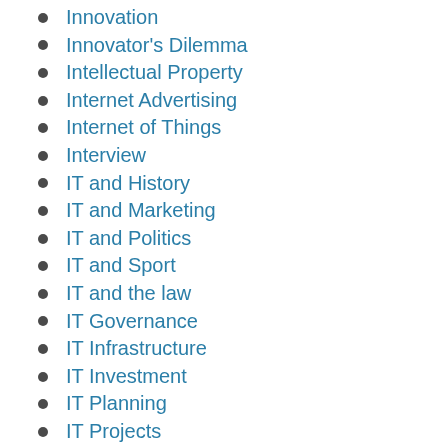Innovation
Innovator's Dilemma
Intellectual Property
Internet Advertising
Internet of Things
Interview
IT and History
IT and Marketing
IT and Politics
IT and Sport
IT and the law
IT Governance
IT Infrastructure
IT Investment
IT Planning
IT Projects
IT Security
IT Standards
IT Strategy
IT Trends
Knowledge Management
Live-streaming